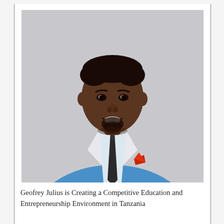[Figure (photo): Portrait photo of Geofrey Julius, a man wearing a blue blazer, white dress shirt, and dark tie with a red pocket square, smiling, against a light gray background.]
Geofrey Julius is Creating a Competitive Education and Entrepreneurship Environment in Tanzania